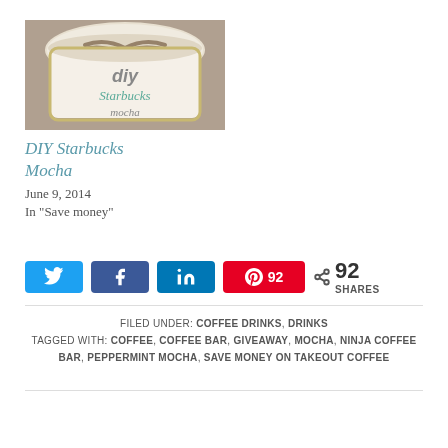[Figure (photo): Coffee mug with DIY Starbucks Mocha text and chocolate drizzle on top]
DIY Starbucks Mocha
June 9, 2014
In "Save money"
[Figure (infographic): Social share buttons: Twitter, Facebook, LinkedIn, Pinterest with 92, and share count 92 SHARES]
FILED UNDER: COFFEE DRINKS, DRINKS
TAGGED WITH: COFFEE, COFFEE BAR, GIVEAWAY, MOCHA, NINJA COFFEE BAR, PEPPERMINT MOCHA, SAVE MONEY ON TAKEOUT COFFEE